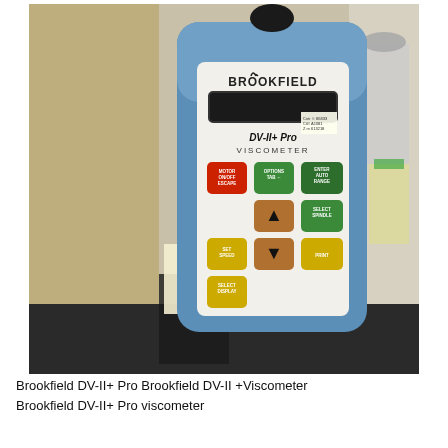[Figure (photo): Photograph of a Brookfield DV-II+ Pro Viscometer, a blue handheld laboratory instrument with a white front panel showing the Brookfield logo, a dark LCD display window, model name 'DV-II+ Pro VISCOMETER', and several colored control buttons including red MOTOR ON/OFF ESCAPE, green OPTIONS/TAB, green ENTER/AUTO RANGE, yellow SET SPEED, orange up/down arrows, yellow SELECT DISPLAY, and yellow SELECT SPINDLE and PRINT buttons.]
Brookfield DV-II+ Pro Brookfield DV-II +Viscometer
Brookfield DV-II+ Pro viscometer